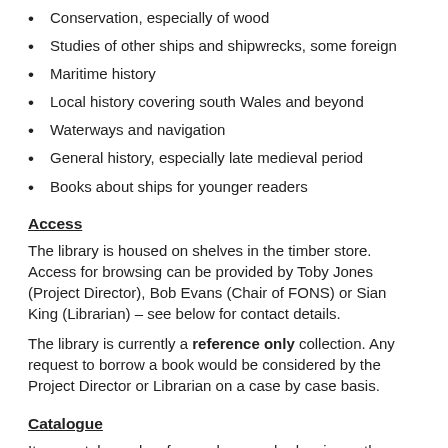Conservation, especially of wood
Studies of other ships and shipwrecks, some foreign
Maritime history
Local history covering south Wales and beyond
Waterways and navigation
General history, especially late medieval period
Books about ships for younger readers
Access
The library is housed on shelves in the timber store. Access for browsing can be provided by Toby Jones (Project Director), Bob Evans (Chair of FONS) or Sian King (Librarian) – see below for contact details.
The library is currently a reference only collection. Any request to borrow a book would be considered by the Project Director or Librarian on a case by case basis.
Catalogue
Items catalogued so far can be searched, using author, title